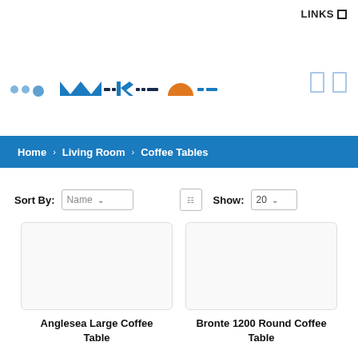LINKS
[Figure (logo): Partial website logo with blue and orange elements, partially cropped at left edge]
Home › Living Room › Coffee Tables
Sort By: Name   Show: 20
Anglesea Large Coffee Table
Bronte 1200 Round Coffee Table